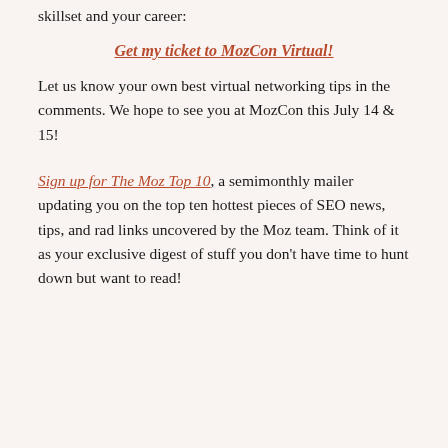skillset and your career:
Get my ticket to MozCon Virtual!
Let us know your own best virtual networking tips in the comments. We hope to see you at MozCon this July 14 & 15!
Sign up for The Moz Top 10, a semimonthly mailer updating you on the top ten hottest pieces of SEO news, tips, and rad links uncovered by the Moz team. Think of it as your exclusive digest of stuff you don't have time to hunt down but want to read!